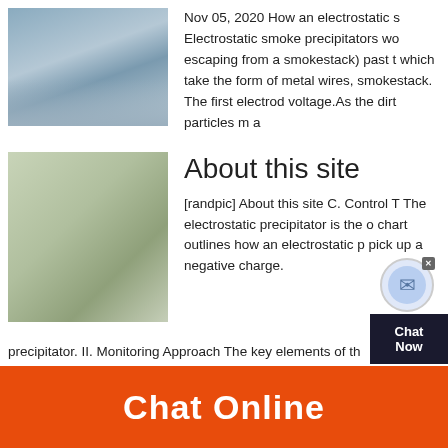[Figure (photo): Industrial facility or smokestack/factory exterior photo]
Nov 05, 2020 How an electrostatic s Electrostatic smoke precipitators wo escaping from a smokestack) past t which take the form of metal wires, smokestack. The first electrod voltage.As the dirt particles m a
[Figure (photo): Industrial machinery with cylindrical drum and blue motor unit]
About this site
[randpic] About this site C. Control T The electrostatic precipitator is the o chart outlines how an electrostatic p pick up a negative charge.
precipitator. II. Monitoring Approach The key elements of th
Chat Online